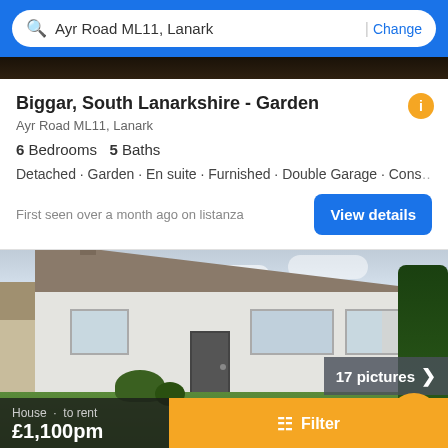Ayr Road ML11, Lanark | Change
Biggar, South Lanarkshire - Garden
Ayr Road ML11, Lanark
6 Bedrooms  5 Baths
Detached · Garden · En suite · Furnished · Double Garage · Cons…
First seen over a month ago on listanza
[Figure (photo): Exterior photo of a detached single-storey bungalow with tiled roof, white rendered walls, front garden with grass and shrubs. Overlay shows '17 pictures >' and property price details at bottom.]
House · to rent
£1,100pm